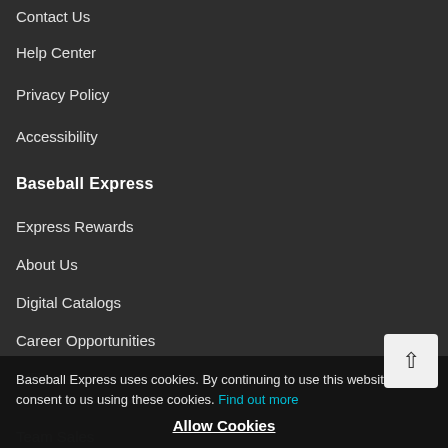Contact Us
Help Center
Privacy Policy
Accessibility
Baseball Express
Express Rewards
About Us
Digital Catalogs
Career Opportunities
Affiliates
Team Sales
Baseball Express uses cookies. By continuing to use this website, you consent to us using these cookies. Find out more
Allow Cookies